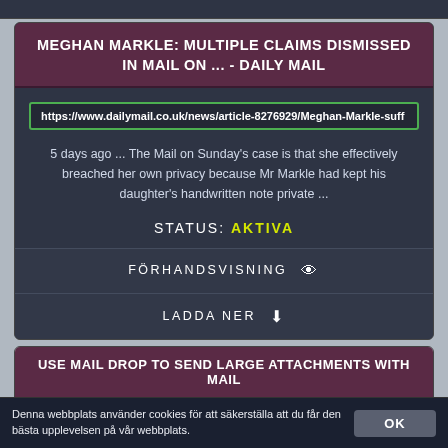MEGHAN MARKLE: MULTIPLE CLAIMS DISMISSED IN MAIL ON ... - DAILY MAIL
https://www.dailymail.co.uk/news/article-8276929/Meghan-Markle-suff
5 days ago ... The Mail on Sunday's case is that she effectively breached her own privacy because Mr Markle had kept his daughter's handwritten note private ...
STATUS: AKTIVA
FÖRHANDSVISNING 👁
LADDA NER ⬇
USE MAIL DROP TO SEND LARGE ATTACHMENTS WITH MAIL
Denna webbplats använder cookies för att säkerställa att du får den bästa upplevelsen på vår webbplats.